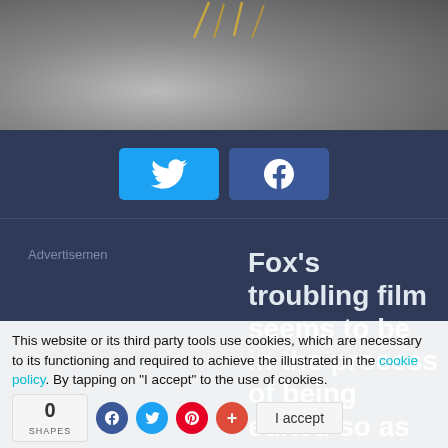[Figure (photo): Black and white close-up photo of a face with golden decorative lines overlaid at the top]
[Figure (infographic): Social share buttons: Twitter (light blue) and Facebook (dark blue)]
Advertisemen
Fox's troubling film seems to be in the process of being edited so as not to
This website or its third party tools use cookies, which are necessary to its functioning and required to achieve the illustrated in the cookie policy. By tapping on "I accept" to the use of cookies.
0 SHAPES
I accept